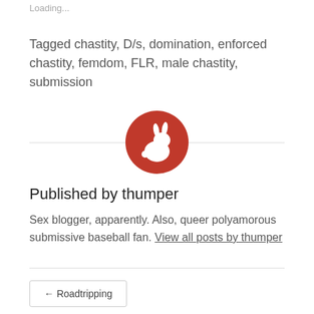Loading...
Tagged chastity, D/s, domination, enforced chastity, femdom, FLR, male chastity, submission
[Figure (logo): Red circle with white rabbit silhouette icon]
Published by thumper
Sex blogger, apparently. Also, queer polyamorous submissive baseball fan. View all posts by thumper
← Roadtripping